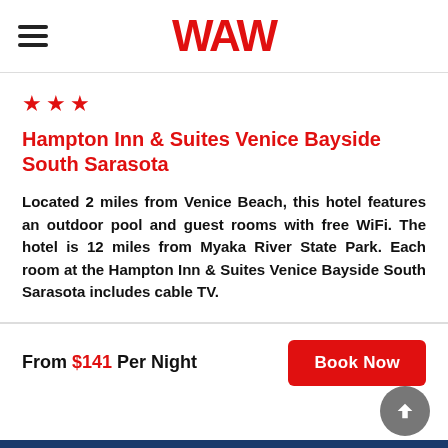WAW
[Figure (logo): WAW travel website logo in red with hamburger menu icon on the left]
Hampton Inn & Suites Venice Bayside South Sarasota
Located 2 miles from Venice Beach, this hotel features an outdoor pool and guest rooms with free WiFi. The hotel is 12 miles from Myaka River State Park. Each room at the Hampton Inn & Suites Venice Bayside South Sarasota includes cable TV.
From $141 Per Night
Book Now